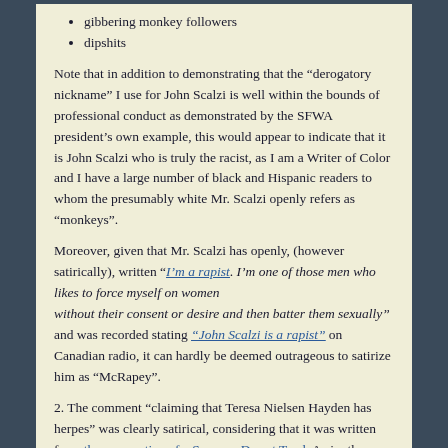gibbering monkey followers
dipshits
Note that in addition to demonstrating that the “derogatory nickname” I use for John Scalzi is well within the bounds of professional conduct as demonstrated by the SFWA president’s own example, this would appear to indicate that it is John Scalzi who is truly the racist, as I am a Writer of Color and I have a large number of black and Hispanic readers to whom the presumably white Mr. Scalzi openly refers as “monkeys”.
Moreover, given that Mr. Scalzi has openly, (however satirically), written “I’m a rapist. I’m one of those men who likes to force myself on women without their consent or desire and then batter them sexually” and was recorded stating “John Scalzi is a rapist” on Canadian radio, it can hardly be deemed outrageous to satirize him as “McRapey”.
2. The comment “claiming that Teresa Nielsen Hayden has herpes” was clearly satirical, considering that it was written from the perspective of a Sonoran Desert Toad. As in, the warty little frog-like animal that hops. The full quote was: “I would point out that licking *me* brings on a state of euphoria and a series of pleasant